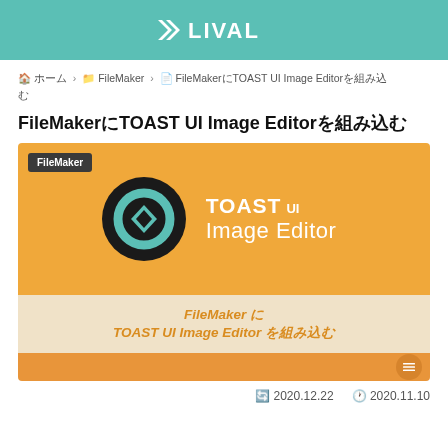LIVAL
🏠 ホーム > 📁 FileMaker > 📄 FileMakerにTOAST UI Image Editorを組み込む
FileMakerにTOAST UI Image Editorを組み込む
[Figure (illustration): Article thumbnail image showing TOAST UI Image Editor logo on orange background with FileMaker badge, and subtitle text 'FileMaker に TOAST UI Image Editor を組み込む' on cream background]
🔄 2020.12.22   🕐 2020.11.10